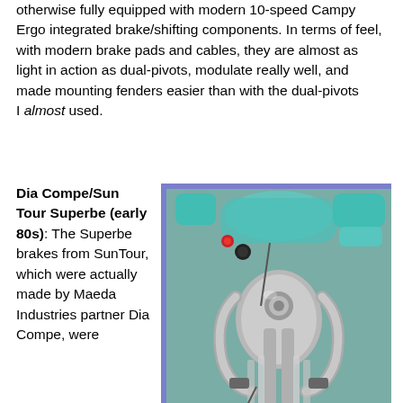otherwise fully equipped with modern 10-speed Campy Ergo integrated brake/shifting components. In terms of feel, with modern brake pads and cables, they are almost as light in action as dual-pivots, modulate really well, and made mounting fenders easier than with the dual-pivots I almost used.
Dia Compe/Sun Tour Superbe (early 80s): The Superbe brakes from SunTour, which were actually made by Maeda Industries partner Dia Compe, were
[Figure (photo): Close-up photo of early 80s Superbe bicycle brakes (silver/chrome) mounted on a teal/turquoise bicycle fork, with a blue-purple border frame.]
Early 80s Superbe brakes - 47 - 57 mm reach. Updated with more modern pads. There's a 32 mm tire plus fender fitting under there just fine.